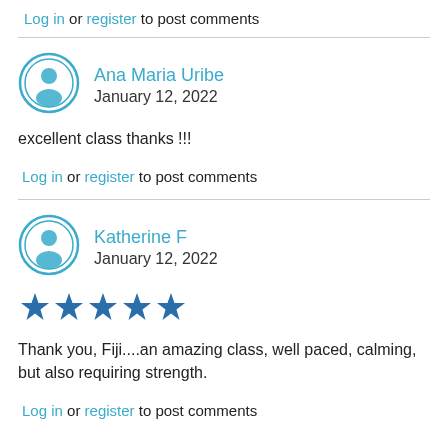Log in or register to post comments
Ana Maria Uribe
January 12, 2022
excellent class thanks !!!
Log in or register to post comments
Katherine F
January 12, 2022
[Figure (other): Five blue star rating icons]
Thank you, Fiji....an amazing class, well paced, calming, but also requiring strength.
Log in or register to post comments